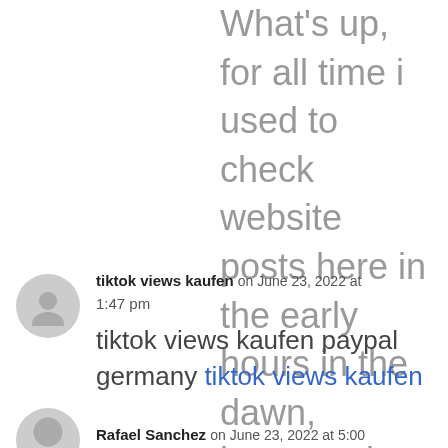What's up, for all time i used to check website posts here in the early hours in the dawn, because i enjoy to gain knowledge of more and more.
tiktok views kaufen on June 23, 2022 at 1:47 pm
tiktok views kaufen paypal germany tiktok views kaufen
Rafael Sanchez on June 23, 2022 at 5:00